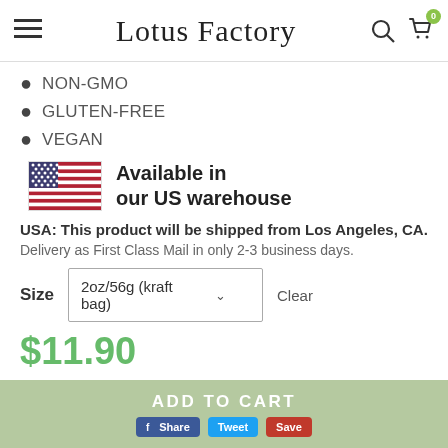Lotus Factory
NON-GMO
GLUTEN-FREE
VEGAN
[Figure (infographic): US flag icon with text 'Available in our US warehouse']
USA: This product will be shipped from Los Angeles, CA. Delivery as First Class Mail in only 2-3 business days.
Size  2oz/56g (kraft bag)  Clear
$11.90
ADD TO CART  Share  Tweet  Save